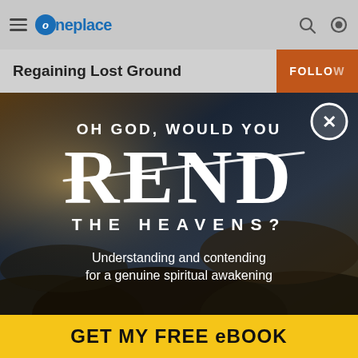oneplace
Regaining Lost Ground
[Figure (illustration): Promotional popup image with dark stormy sky background. Text reads: OH GOD, WOULD YOU REND THE HEAVENS? Understanding and contending for a genuine spiritual awakening. Close button (X) in top right corner.]
GET MY FREE eBOOK